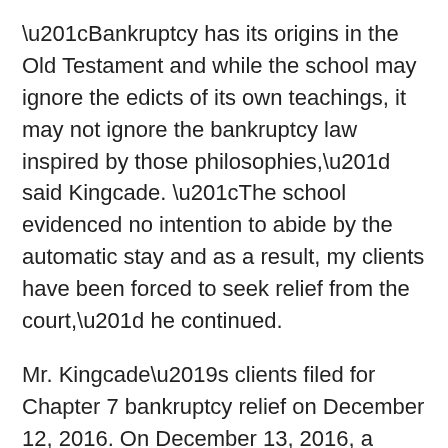“Bankruptcy has its origins in the Old Testament and while the school may ignore the edicts of its own teachings, it may not ignore the bankruptcy law inspired by those philosophies,” said Kingcade. “The school evidenced no intention to abide by the automatic stay and as a result, my clients have been forced to seek relief from the court,” he continued.
Mr. Kingcade’s clients filed for Chapter 7 bankruptcy relief on December 12, 2016. On December 13, 2016, a notice of the filing and a request for the release of transcripts for their two children was sent to Belen Jesuit Preparatory School. The school had actual knowledge of their bankruptcy filing and refused to release the requested transcripts. The older of his clients’ children is in the process of applying for